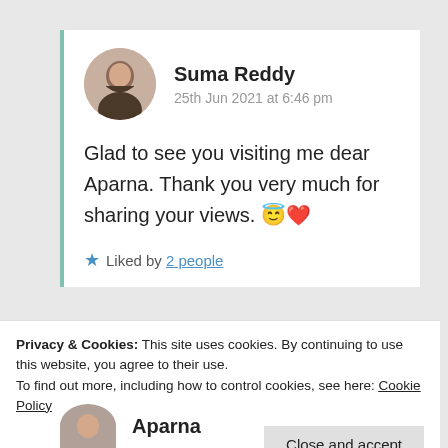Suma Reddy
25th Jun 2021 at 6:46 pm
Glad to see you visiting me dear Aparna. Thank you very much for sharing your views. 😇❤
★ Liked by 2 people
Privacy & Cookies: This site uses cookies. By continuing to use this website, you agree to their use.
To find out more, including how to control cookies, see here: Cookie Policy
Close and accept
Aparna